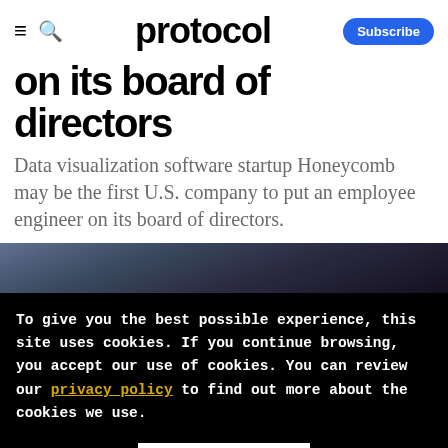protocol  Subscribe
on its board of directors
Data visualization software startup Honeycomb may be the first U.S. company to put an employee engineer on its board of directors.
[Figure (photo): Photo strip showing a person, partially visible, dark background]
To give you the best possible experience, this site uses cookies. If you continue browsing, you accept our use of cookies. You can review our privacy policy to find out more about the cookies we use.
Accept